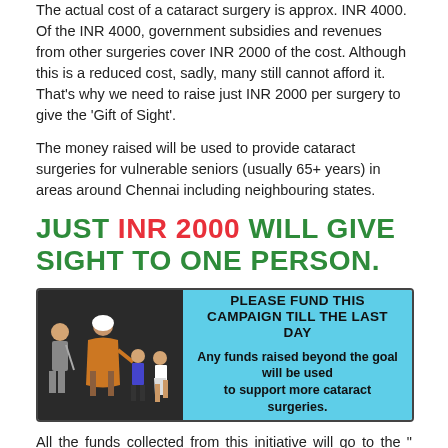The actual cost of a cataract surgery is approx. INR 4000. Of the INR 4000, government subsidies and revenues from other surgeries cover INR 2000 of the cost. Although this is a reduced cost, sadly, many still cannot afford it. That's why we need to raise just INR 2000 per surgery to give the 'Gift of Sight'.
The money raised will be used to provide cataract surgeries for vulnerable seniors (usually 65+ years) in areas around Chennai including neighbouring states.
JUST INR 2000 WILL GIVE SIGHT TO ONE PERSON.
[Figure (illustration): Banner with dark left panel showing illustrated figures of elderly and children, and light blue right panel with text 'PLEASE FUND THIS CAMPAIGN TILL THE LAST DAY' and subtext 'Any funds raised beyond the goal will be used to support more cataract surgeries.']
All the funds collected from this initiative will go to the " SANKARA EYE HOSPITAL" located 6 km from the Chennai airport in PAMMAL area. This hospital does about 10000 free surgeries annually under their KANNOLI vision saver project and these funds will be used for